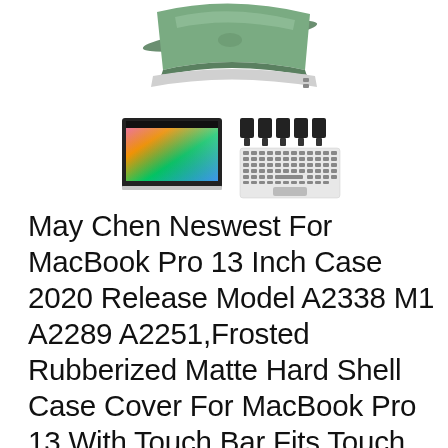[Figure (photo): Product images: top shows a green MacBook Pro laptop partially open from above; bottom row shows a MacBook Pro screen thumbnail with colorful wallpaper and a keyboard cover accessory with port plugs.]
May Chen Neswest For MacBook Pro 13 Inch Case 2020 Release Model A2338 M1 A2289 A2251,Frosted Rubberized Matte Hard Shell Case Cover For MacBook Pro 13 With Touch Bar Fits Touch ID, Dark Cyan